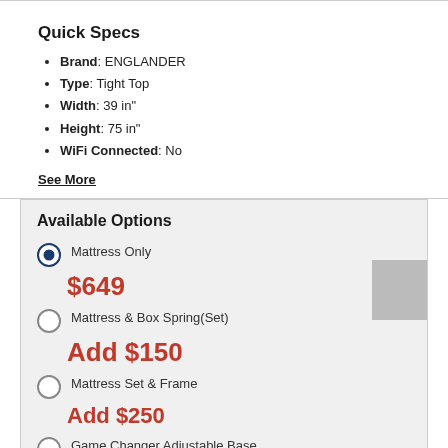Quick Specs
Brand: ENGLANDER
Type: Tight Top
Width: 39 in"
Height: 75 in"
WiFi Connected: No
See More
Available Options
Mattress Only
$649
Mattress & Box Spring(Set)
Add $150
Mattress Set & Frame
Add $250
Game Changer Adjustable Base
Add $1000
Game Changer Plus Adjustable Base